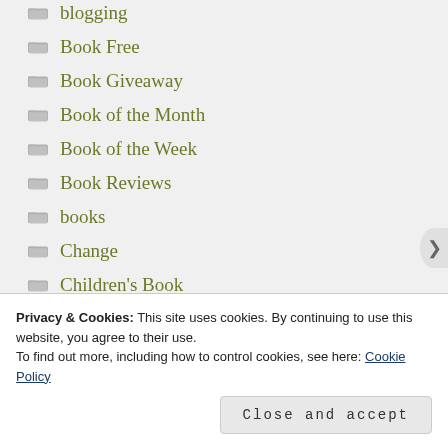blogging
Book Free
Book Giveaway
Book of the Month
Book of the Week
Book Reviews
books
Change
Children's Book
Christmas
Privacy & Cookies: This site uses cookies. By continuing to use this website, you agree to their use.
To find out more, including how to control cookies, see here: Cookie Policy
Close and accept